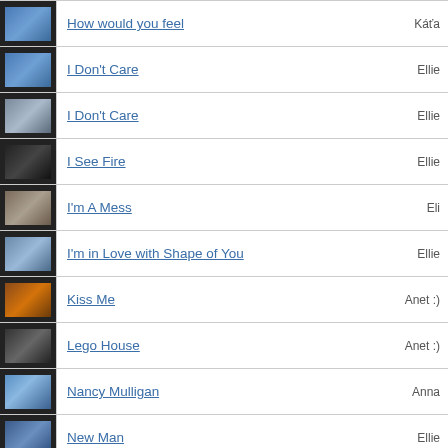How would you feel — Káťa
I Don't Care — Ellie
I Don't Care — Ellie
I See Fire — Ellie
I'm A Mess — Eli
I'm in Love with Shape of You — Ellie
Kiss Me — Anet :)
Lego House — Anet :)
Nancy Mulligan — Anna
New Man — Ellie
Perfect — Ellie
Photograph — NutiTuti